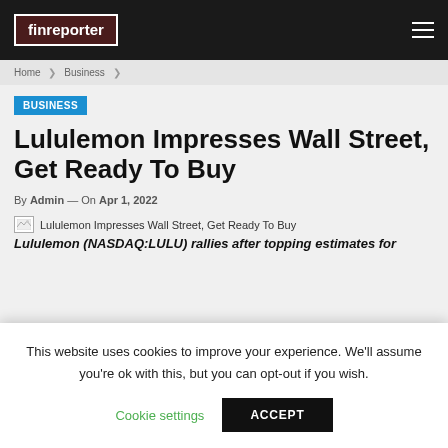finreporter
Home  Business
BUSINESS
Lululemon Impresses Wall Street, Get Ready To Buy
By Admin — On Apr 1, 2022
[Figure (photo): Placeholder image for Lululemon Impresses Wall Street, Get Ready To Buy article]
Lululemon (NASDAQ:LULU) rallies after topping estimates for
This website uses cookies to improve your experience. We'll assume you're ok with this, but you can opt-out if you wish.
Cookie settings    ACCEPT